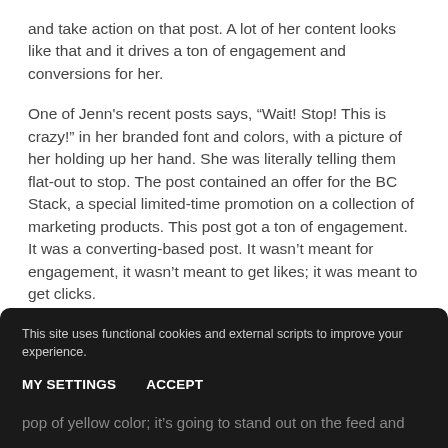and take action on that post. A lot of her content looks like that and it drives a ton of engagement and conversions for her.
One of Jenn's recent posts says, “Wait! Stop! This is crazy!” in her branded font and colors, with a picture of her holding up her hand. She was literally telling them flat-out to stop. The post contained an offer for the BC Stack, a special limited-time promotion on a collection of marketing products. This post got a ton of engagement. It was a converting-based post. It wasn’t meant for engagement, it wasn’t meant to get likes; it was meant to get clicks.
When it comes to content, we just want to get people’s attention. Maybe that means bold colors; maybe it’s
This site uses functional cookies and external scripts to improve your experience.
MY SETTINGS
ACCEPT
pop of yellow color; it’s going to stand out on the feed and